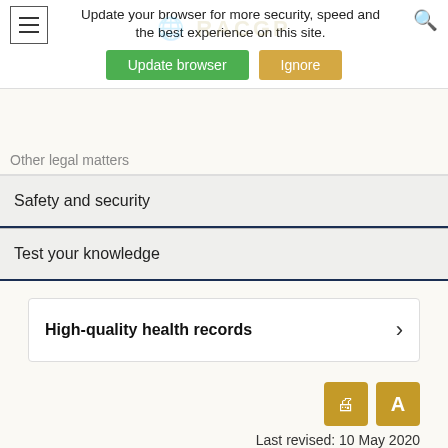Your web browser (iOS 11) is out of date. Update your browser for more security, speed and the best experience on this site. [Update browser] [Ignore]
Other legal matters
Safety and security
Test your knowledge
High-quality health records
Last revised: 10 May 2020
At the birth of a child
When a parent registers their newborn for Medicare